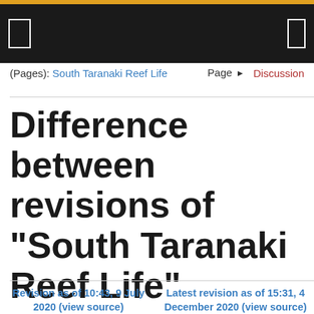(Pages): South Taranaki Reef Life  Page  Discussion
Difference between revisions of "South Taranaki Reef Life"
Revision as of 10:43, 9 July 2020 (view source)
Latest revision as of 15:31, 4 December 2020 (view source)